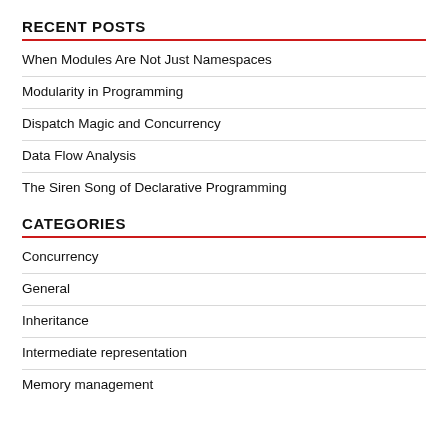RECENT POSTS
When Modules Are Not Just Namespaces
Modularity in Programming
Dispatch Magic and Concurrency
Data Flow Analysis
The Siren Song of Declarative Programming
CATEGORIES
Concurrency
General
Inheritance
Intermediate representation
Memory management